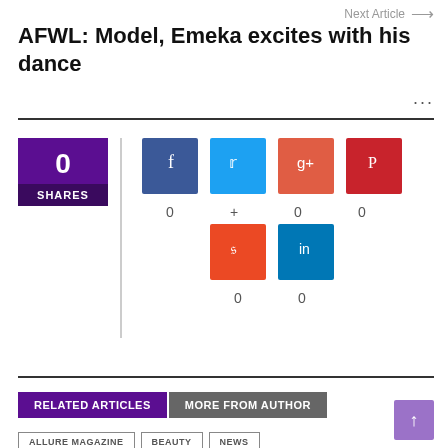Next Article →
AFWL: Model, Emeka excites with his dance
...
[Figure (infographic): Social share widget showing 0 total SHARES with social media icons: Facebook (0), Twitter (+), Google+ (0), Pinterest (0), StumbleUpon (0), LinkedIn (0)]
RELATED ARTICLES   MORE FROM AUTHOR
ALLURE MAGAZINE   BEAUTY   NEWS